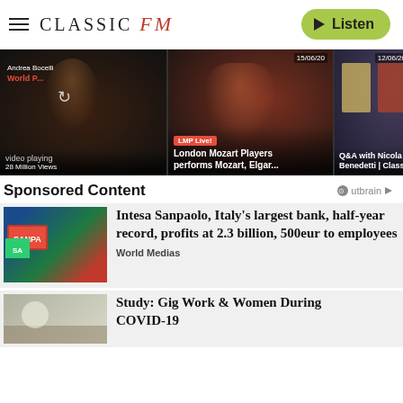CLASSIC FM — Listen
[Figure (screenshot): Video thumbnail strip showing three videos: Andrea Bocelli World video playing 28 Million Views; London Mozart Players performs Mozart, Elgar... (15/06/20, LMP Live! badge); Q&A with Nicola Benedetti | Classic FM (12/06/20)]
Sponsored Content
[Figure (screenshot): Intesa Sanpaolo bank building sign photo]
Intesa Sanpaolo, Italy's largest bank, half-year record, profits at 2.3 billion, 500eur to employees
World Medias
[Figure (photo): Second sponsored content image partially visible]
Study: Gig Work & Women During COVID-19